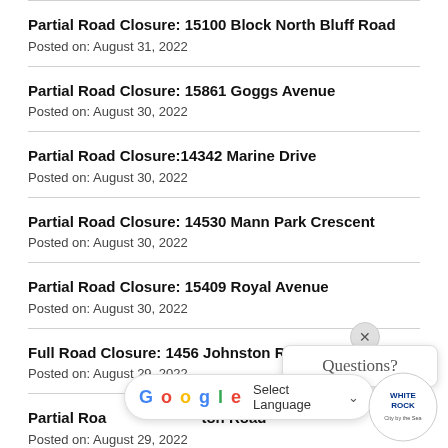Partial Road Closure: 15100 Block North Bluff Road
Posted on: August 31, 2022
Partial Road Closure: 15861 Goggs Avenue
Posted on: August 30, 2022
Partial Road Closure:14342 Marine Drive
Posted on: August 30, 2022
Partial Road Closure: 14530 Mann Park Crescent
Posted on: August 30, 2022
Partial Road Closure: 15409 Royal Avenue
Posted on: August 30, 2022
Full Road Closure: 1456 Johnston Road
Posted on: August 29, 2022
Partial Road Closure: ...ton Road
Posted on: August 29, 2022
[Figure (other): Google Translate language selector widget overlay]
[Figure (logo): White Rock City by the Sea logo]